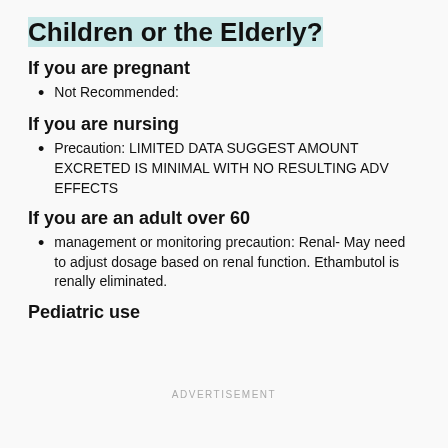Children or the Elderly?
If you are pregnant
Not Recommended:
If you are nursing
Precaution: LIMITED DATA SUGGEST AMOUNT EXCRETED IS MINIMAL WITH NO RESULTING ADV EFFECTS
If you are an adult over 60
management or monitoring precaution: Renal- May need to adjust dosage based on renal function. Ethambutol is renally eliminated.
Pediatric use
ADVERTISEMENT